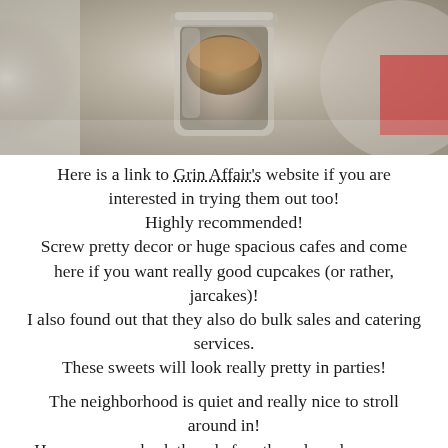[Figure (photo): Photo of a cupcake or baked good inside a glass jar, held up against a blurred background with light and bokeh effects]
Here is a link to Grin Affair's website if you are interested in trying them out too! Highly recommended! Screw pretty decor or huge spacious cafes and come here if you want really good cupcakes (or rather, jarcakes)! I also found out that they also do bulk sales and catering services. These sweets will look really pretty in parties!

The neighborhood is quiet and really nice to stroll around in!
Hope you can check them before they close down soon.